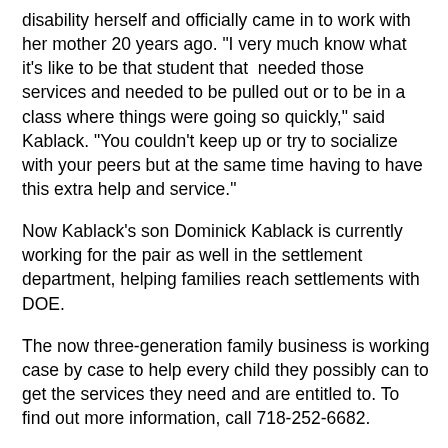disability herself and officially came in to work with her mother 20 years ago. "I very much know what it's like to be that student that  needed those services and needed to be pulled out or to be in a class where things were going so quickly," said Kablack. "You couldn't keep up or try to socialize with your peers but at the same time having to have this extra help and service."
Now Kablack's son Dominick Kablack is currently working for the pair as well in the settlement department, helping families reach settlements with DOE.
The now three-generation family business is working case by case to help every child they possibly can to get the services they need and are entitled to. To find out more information, call 718-252-6682.